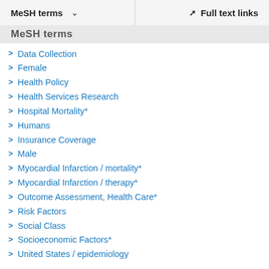MeSH terms    Full text links
MeSH terms
Data Collection
Female
Health Policy
Health Services Research
Hospital Mortality*
Humans
Insurance Coverage
Male
Myocardial Infarction / mortality*
Myocardial Infarction / therapy*
Outcome Assessment, Health Care*
Risk Factors
Social Class
Socioeconomic Factors*
United States / epidemiology